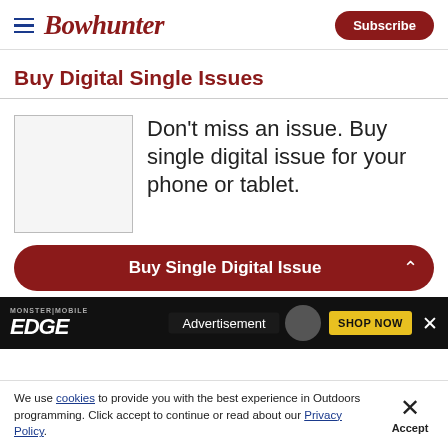Bowhunter | Subscribe
Buy Digital Single Issues
[Figure (other): Blank magazine cover placeholder image]
Don't miss an issue. Buy single digital issue for your phone or tablet.
Buy Single Digital Issue
[Figure (other): Advertisement banner: Monster Mobile EDGE magazine ad with SHOP NOW button]
We use cookies to provide you with the best experience in Outdoors programming. Click accept to continue or read about our Privacy Policy.